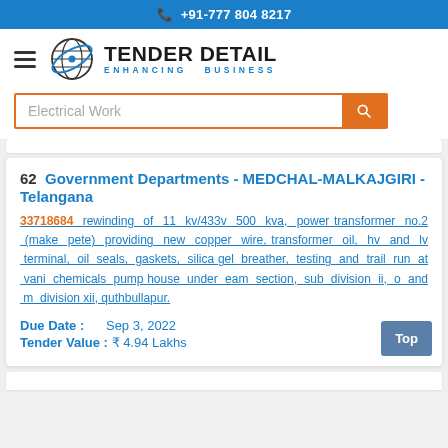+91-777 804 8217
[Figure (logo): Tender Detail - Enhancing Business logo with globe icon]
Electrical Work (search box)
62  Government Departments - MEDCHAL-MALKAJGIRI - Telangana
33718684  rewinding of 11 kv/433v 500 kva, power transformer no.2 (make pete) providing new copper wire, transformer oil, hv and lv terminal, oil seals, gaskets, silica gel breather, testing and trail run at vani chemicals pump house under eam section, sub division ii, o and m division xii, quthbullapur.
Due Date :    Sep 3, 2022
Tender Value : ₹ 4.94 Lakhs